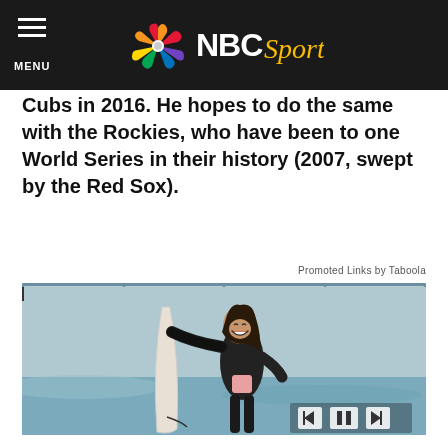MENU | NBC Sports
Cubs in 2016. He hopes to do the same with the Rockies, who have been to one World Series in their history (2007, swept by the Red Sox).
Promoted Links by Taboola
[Figure (photo): A smiling woman in a wetsuit holding a surfboard on a beach, with media playback controls (previous, pause, next) overlaid at the bottom right, and a progress indicator bar at the top.]